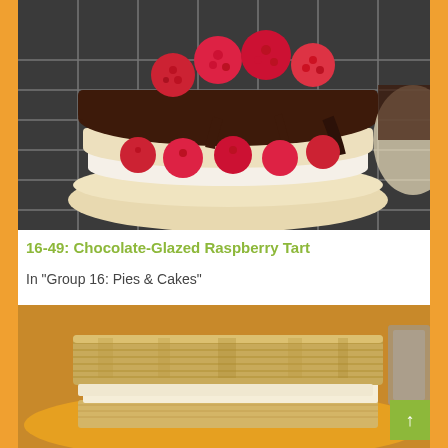[Figure (photo): Close-up photo of a chocolate-glazed raspberry tart on a cooling rack, showing layered pastry with white cream and fresh raspberries, topped with dark chocolate glaze and more raspberries]
16-49: Chocolate-Glazed Raspberry Tart
In "Group 16: Pies & Cakes"
[Figure (photo): Photo of a strawberry napoleon/mille-feuille pastry on a yellow plate, showing flaky puff pastry layers filled with cream and fresh strawberry slices]